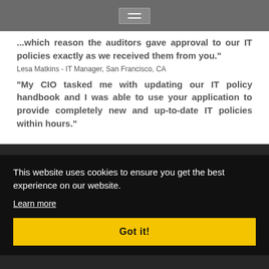Navigation bar with hamburger menu icon
...which reason the auditors gave approval to our IT policies exactly as we received them from you."
Lesa Matkins - IT Manager, San Francisco, CA
"My CIO tasked me with updating our IT policy handbook and I was able to use your application to provide completely new and up-to-date IT policies within hours."
This website uses cookies to ensure you get the best experience on our website.
Learn more
Got it!